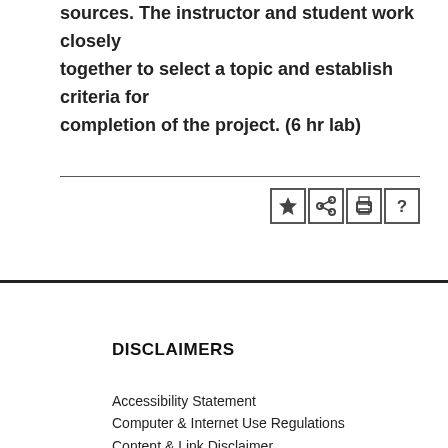sources. The instructor and student work closely together to select a topic and establish criteria for completion of the project. (6 hr lab)
[Figure (other): Row of four icon buttons: star (bookmark), share, print, and help/question mark, each in a bordered box]
DISCLAIMERS
Accessibility Statement
Computer & Internet Use Regulations
Content & Link Disclaimer
Non-Discrimination Policy